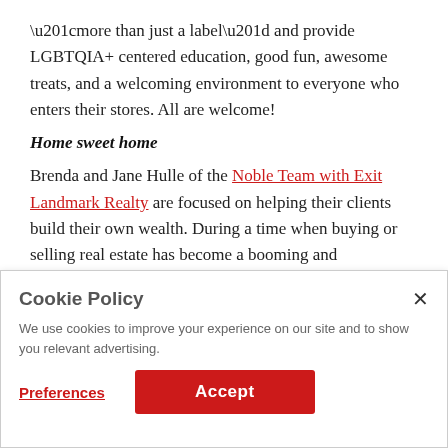“more than just a label” and provide LGBTQIA+ centered education, good fun, awesome treats, and a welcoming environment to everyone who enters their stores. All are welcome!
Home sweet home
Brenda and Jane Hulle of the Noble Team with Exit Landmark Realty are focused on helping their clients build their own wealth. During a time when buying or selling real estate has become a booming and competitive part of Maryland’s economy, the couple is
Cookie Policy
We use cookies to improve your experience on our site and to show you relevant advertising.
Preferences
Accept